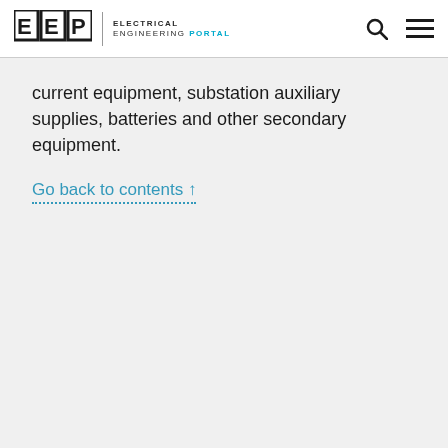EEP | ELECTRICAL ENGINEERING PORTAL
current equipment, substation auxiliary supplies, batteries and other secondary equipment.
Go back to contents ↑